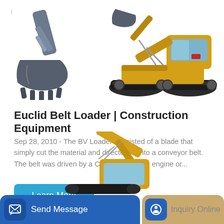[Figure (illustration): Excavator bucket/attachment close-up, dark grey, top-left]
[Figure (illustration): Yellow crawler excavator, full machine, top-right]
Euclid Belt Loader | Construction Equipment
Sep 28, 2010 - The BV Loader consisted of a blade that simply cut the material and directed it onto a conveyor belt. The belt was driven by a Cummins 150-hp engine or...
[Figure (illustration): Yellow excavator arm/machine, partial view, bottom-center]
Learn More
Send Message
Inquiry Online